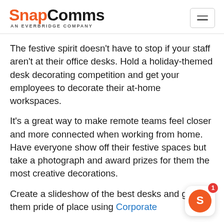SnapComms AN EVERBRIDGE COMPANY
The festive spirit doesn’t have to stop if your staff aren’t at their office desks. Hold a holiday-themed desk decorating competition and get your employees to decorate their at-home workspaces.
It’s a great way to make remote teams feel closer and more connected when working from home. Have everyone show off their festive spaces but take a photograph and award prizes for them the most creative decorations.
Create a slideshow of the best desks and give them pride of place using Corporate